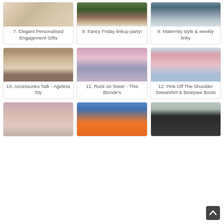[Figure (photo): Elegant Personalised Engagement Gifts product collage]
7. Elegant Personalised Engagement Gifts
[Figure (photo): Woman in white skirt standing outdoors - Fancy Friday linkup party]
8. Fancy Friday linkup party!
[Figure (photo): Woman in jeans and blazer - Maternity style & weekly linky]
9. Maternity style & weekly linky
[Figure (photo): Woman in white shirt and black pants outdoors - Accessories Talk Ageless Style]
10. Accessories Talk - Ageless Sty
[Figure (photo): Woman in pink top and jeans at door - Rock on Sister This Blonde's]
11. Rock on Sister - This Blonde's
[Figure (photo): Woman in pink off-shoulder sweatshirt in snow with Bearpaw boots]
12. Pink Off The Shoulder Sweatshirt & Bearpaw Boots
[Figure (photo): Woman in kimono cardigan outdoors]
[Figure (photo): Woman in white tee and orange pants]
[Figure (photo): Woman in black outfit wearing green earrings]